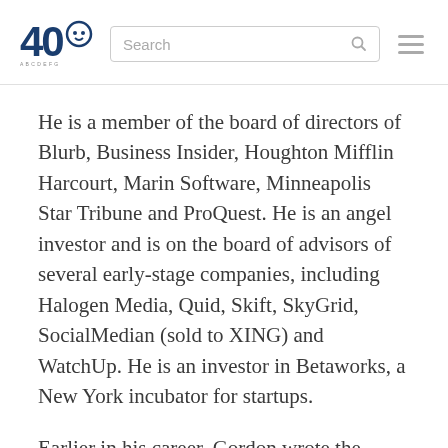40 [logo] Search [search box] [hamburger menu]
He is a member of the board of directors of Blurb, Business Insider, Houghton Mifflin Harcourt, Marin Software, Minneapolis Star Tribune and ProQuest. He is an angel investor and is on the board of advisors of several early-stage companies, including Halogen Media, Quid, Skift, SkyGrid, SocialMedian (sold to XING) and WatchUp. He is an investor in Betaworks, a New York incubator for startups.
Earlier in his career, Gordon wrote the "Rule